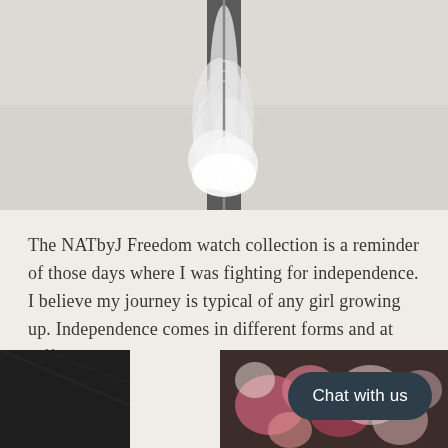[Figure (photo): Close-up photograph of a white feather on a light grey/white background, centered vertically in the frame, soft and delicate texture visible.]
The NATbyJ Freedom watch collection is a reminder of those days where I was fighting for independence. I believe my journey is typical of any girl growing up. Independence comes in different forms and at different ages.
[Figure (photo): Bottom portion of a page showing a blurred image of pink and white flowers on a dark textured background, with a 'Chat with us' button overlay in the bottom right corner.]